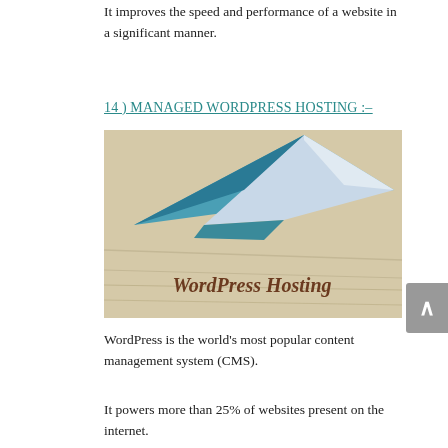It improves the speed and performance of a website in a significant manner.
14 ) MANAGED WORDPRESS HOSTING  :–
[Figure (photo): Photo showing a blue and white paper airplane on a wooden surface, with 'WordPress Hosting' text engraved or printed below it]
WordPress is the world's most popular content management system (CMS).
It powers more than 25% of websites present on the internet.